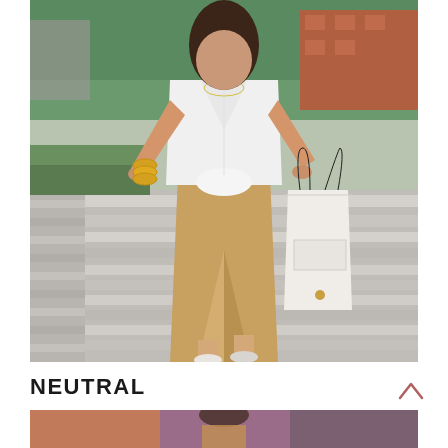[Figure (photo): A woman standing on outdoor stone steps wearing a white knotted button-down shirt, a camel/tan wrap midi skirt with a front slit, yellow bangles, and holding a white tote bag with black handles. Background shows brick buildings and green trees.]
NEUTRAL
[Figure (photo): Partial bottom strip showing another fashion photo with warm reddish-purple tones.]